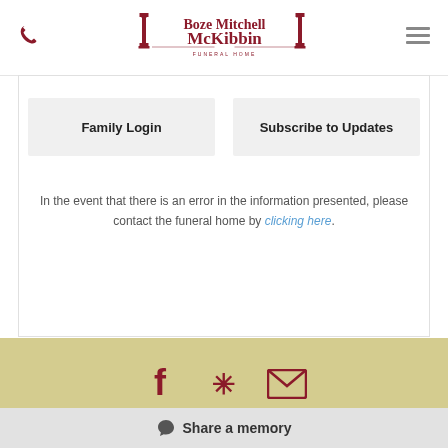Boze Mitchell McKibbin Funeral Home
Family Login
Subscribe to Updates
In the event that there is an error in the information presented, please contact the funeral home by clicking here.
[Figure (infographic): Social media icons: Facebook, Yelp, Email/envelope]
544 West Main Street, Waxahachie, TX 75165
Share a memory